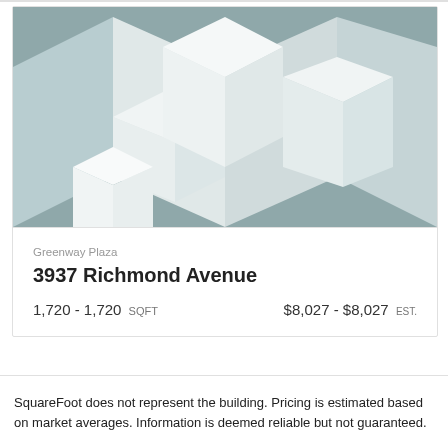[Figure (illustration): Abstract isometric building illustration with light gray geometric shapes on a muted blue-gray background]
Greenway Plaza
3937 Richmond Avenue
1,720 - 1,720 SQFT       $8,027 - $8,027 EST.
SquareFoot does not represent the building. Pricing is estimated based on market averages. Information is deemed reliable but not guaranteed.